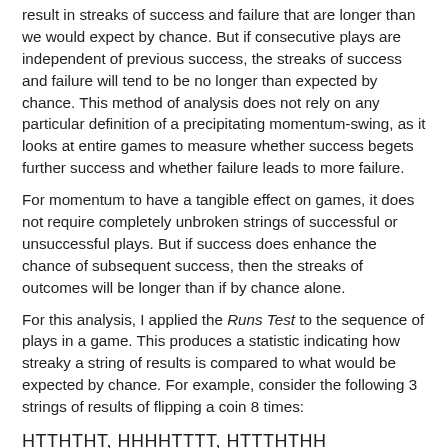result in streaks of success and failure that are longer than we would expect by chance. But if consecutive plays are independent of previous success, the streaks of success and failure will tend to be no longer than expected by chance. This method of analysis does not rely on any particular definition of a precipitating momentum-swing, as it looks at entire games to measure whether success begets further success and whether failure leads to more failure.
For momentum to have a tangible effect on games, it does not require completely unbroken strings of successful or unsuccessful plays. But if success does enhance the chance of subsequent success, then the streaks of outcomes will be longer than if by chance alone.
For this analysis, I applied the Runs Test to the sequence of plays in a game. This produces a statistic indicating how streaky a string of results is compared to what would be expected by chance. For example, consider the following 3 strings of results of flipping a coin 8 times:
HTTHTHT, HHHHTTTT, HTTTHTHH